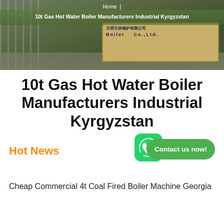[Figure (photo): Hero banner photo of a boiler manufacturing company facility with fence, green area, and building sign showing Chinese text and 'Boiler Co.,Ltd.' with breadcrumb navigation overlay.]
Home | 10t Gas Hot Water Boiler Manufacturers Industrial Kyrgyzstan
10t Gas Hot Water Boiler Manufacturers Industrial Kyrgyzstan
[Figure (logo): WhatsApp green rounded square icon with phone handset graphic]
Contact us now!
Hot News
Cheap Commercial 4t Coal Fired Boiler Machine Georgia